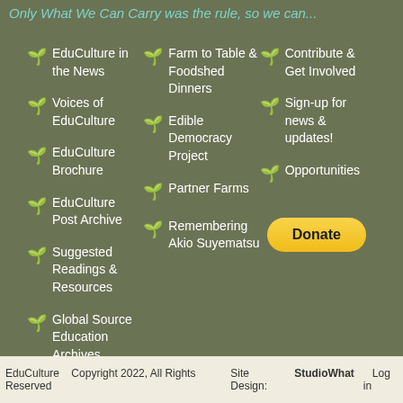Only What We Can Carry was the rule, so we can...
EduCulture in the News
Voices of EduCulture
EduCulture Brochure
EduCulture Post Archive
Suggested Readings & Resources
Global Source Education Archives
Farm to Table & Foodshed Dinners
Edible Democracy Project
Partner Farms
Remembering Akio Suyematsu
Contribute & Get Involved
Sign-up for news & updates!
Opportunities
[Figure (other): Donate button (PayPal-style yellow rounded button)]
EduCulture   Copyright 2022, All Rights Reserved   Site Design: StudioWhat   Log in